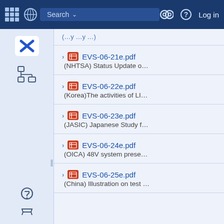Navigation bar with search, icons, and Log in
EVS-06-21e.pdf — (NHTSA) Status Update o...
EVS-06-22e.pdf — (Korea)The activities of LI...
EVS-06-23e.pdf — (JASIC) Japanese Study f...
EVS-06-24e.pdf — (OICA) 48V system prese...
EVS-06-25e.pdf — (China) Illustration on test ...